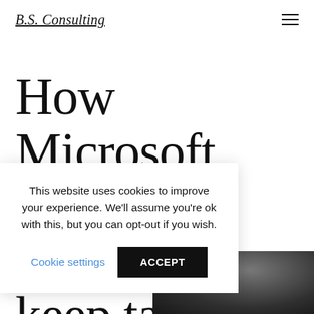B.S. Consulting
How Microsoft 365's Bookings keep tasks and events organized
[Figure (photo): Partial photo of a person, dark background, bottom-right corner of page]
This website uses cookies to improve your experience. We'll assume you're ok with this, but you can opt-out if you wish.
Cookie settings   ACCEPT